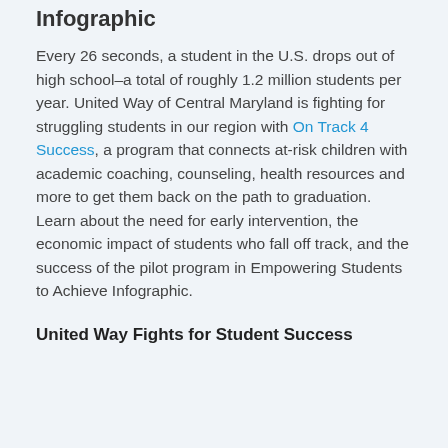Infographic
Every 26 seconds, a student in the U.S. drops out of high school–a total of roughly 1.2 million students per year. United Way of Central Maryland is fighting for struggling students in our region with On Track 4 Success, a program that connects at-risk children with academic coaching, counseling, health resources and more to get them back on the path to graduation. Learn about the need for early intervention, the economic impact of students who fall off track, and the success of the pilot program in Empowering Students to Achieve Infographic.
United Way Fights for Student Success